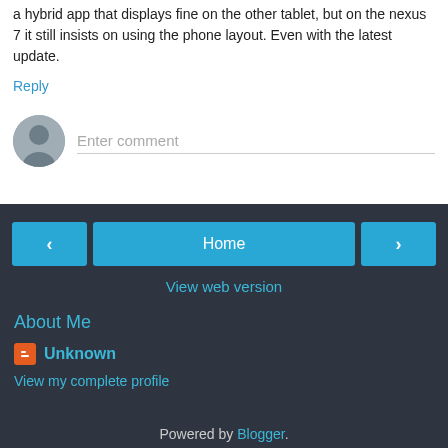a hybrid app that displays fine on the other tablet, but on the nexus 7 it still insists on using the phone layout. Even with the latest update.
Reply
[Figure (other): Enter comment input box with user avatar icon]
< (previous navigation button)
Home
> (next navigation button)
View web version
About Me
Unknown
View my complete profile
Powered by Blogger.